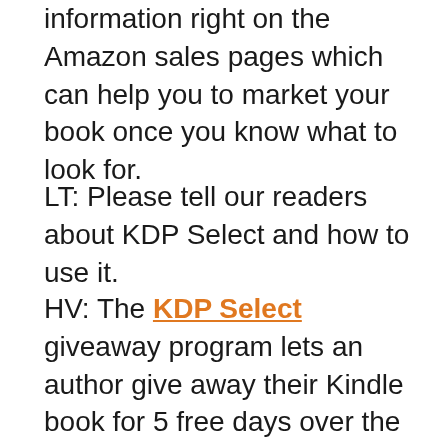information right on the Amazon sales pages which can help you to market your book once you know what to look for.
LT: Please tell our readers about KDP Select and how to use it.
HV: The KDP Select giveaway program lets an author give away their Kindle book for 5 free days over the course of 90 days. Remember, the book is digital and doesn't cost you anything to give it away.  The promotion will get your book into the hands of people who might not normally find your book and perhaps more importantly it will drive your book's rankings on Amazon. You want to have your book on the first page of your category